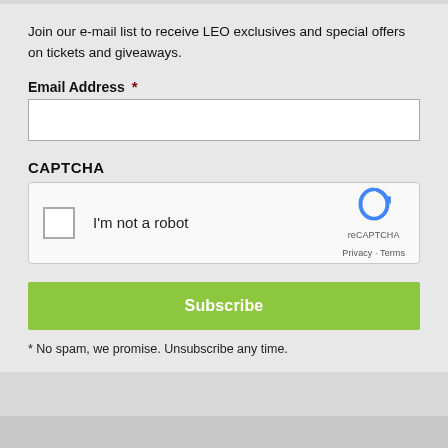Join our e-mail list to receive LEO exclusives and special offers on tickets and giveaways.
Email Address  *
[Figure (other): Email address text input field (empty white rectangle with border)]
CAPTCHA
[Figure (other): reCAPTCHA widget with checkbox, 'I'm not a robot' text, reCAPTCHA logo, Privacy and Terms links]
Subscribe
* No spam, we promise. Unsubscribe any time.